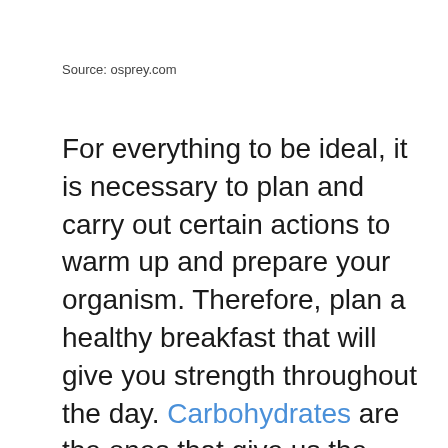Source: osprey.com
For everything to be ideal, it is necessary to plan and carry out certain actions to warm up and prepare your organism. Therefore, plan a healthy breakfast that will give you strength throughout the day. Carbohydrates are the ones that give us the energy to get through the day. However, we need food here that will release carbohydrates very slowly so that all the energy is evenly distributed throughout the day. It would be best to have warm oatmeal for breakfast, which you will enrich with berries and nuts. This is the ideal combination for what you need. At the same time, this meal is quite